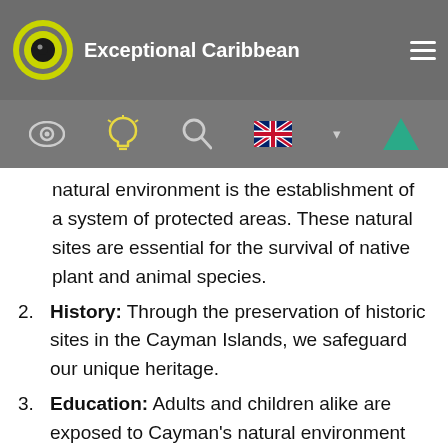Exceptional Caribbean
[Figure (screenshot): Navigation toolbar with eye icon, lightbulb icon, search icon, UK flag language selector, and teal triangle icon on grey background]
natural environment is the establishment of a system of protected areas. These natural sites are essential for the survival of native plant and animal species.
2. History: Through the preservation of historic sites in the Cayman Islands, we safeguard our unique heritage.
3. Education: Adults and children alike are exposed to Cayman's natural environment and heritage through lectures and a dedicated...